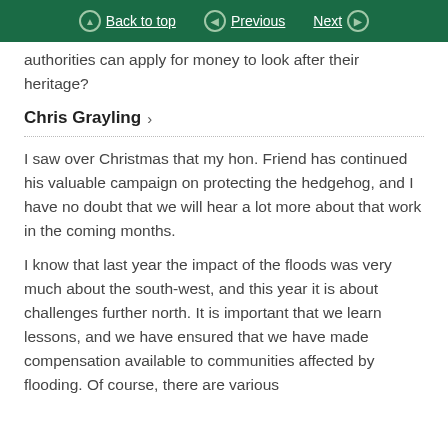Back to top | Previous | Next
authorities can apply for money to look after their heritage?
Chris Grayling >
I saw over Christmas that my hon. Friend has continued his valuable campaign on protecting the hedgehog, and I have no doubt that we will hear a lot more about that work in the coming months.
I know that last year the impact of the floods was very much about the south-west, and this year it is about challenges further north. It is important that we learn lessons, and we have ensured that we have made compensation available to communities affected by flooding. Of course, there are various